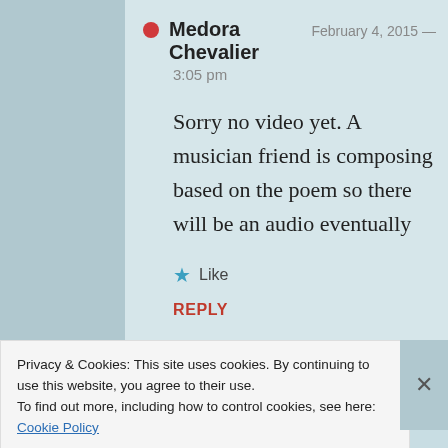Medora Chevalier  February 4, 2015 —
3:05 pm
Sorry no video yet. A musician friend is composing based on the poem so there will be an audio eventually
★ Like
REPLY
Privacy & Cookies: This site uses cookies. By continuing to use this website, you agree to their use.
To find out more, including how to control cookies, see here: Cookie Policy
Close and accept